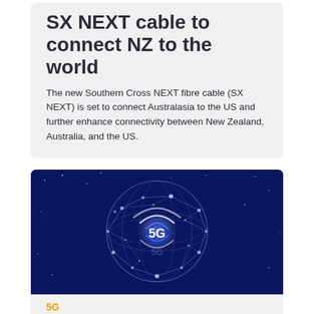cable launches the SX NEXT cable to connect NZ to the world
The new Southern Cross NEXT fibre cable (SX NEXT) is set to connect Australasia to the US and further enhance connectivity between New Zealand, Australia, and the US.
[Figure (illustration): Dark blue digital globe illustration with glowing 5G wireless signal icon at the center, surrounded by interconnected dots and lines forming a network globe shape on a deep blue background]
5G
Worldwide 5G